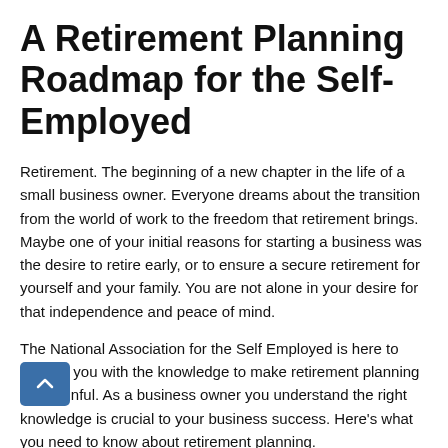A Retirement Planning Roadmap for the Self-Employed
Retirement. The beginning of a new chapter in the life of a small business owner. Everyone dreams about the transition from the world of work to the freedom that retirement brings. Maybe one of your initial reasons for starting a business was the desire to retire early, or to ensure a secure retirement for yourself and your family. You are not alone in your desire for that independence and peace of mind.
The National Association for the Self Employed is here to provide you with the knowledge to make retirement planning less painful. As a business owner you understand the right knowledge is crucial to your business success. Here's what you need to know about retirement planning.